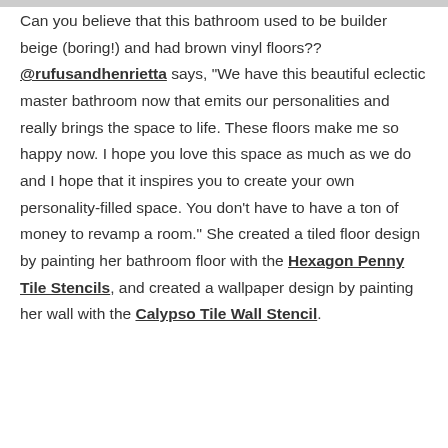Can you believe that this bathroom used to be builder beige (boring!) and had brown vinyl floors?? @rufusandhenrietta says, "We have this beautiful eclectic master bathroom now that emits our personalities and really brings the space to life. These floors make me so happy now. I hope you love this space as much as we do and I hope that it inspires you to create your own personality-filled space. You don't have to have a ton of money to revamp a room." She created a tiled floor design by painting her bathroom floor with the Hexagon Penny Tile Stencils, and created a wallpaper design by painting her wall with the Calypso Tile Wall Stencil.